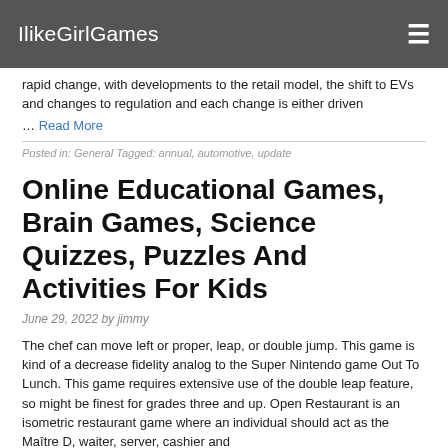IlikeGirlGames
rapid change, with developments to the retail model, the shift to EVs and changes to regulation and each change is either driven … Read More
Posted in: General Tagged: annual, automotive, update
Online Educational Games, Brain Games, Science Quizzes, Puzzles And Activities For Kids
June 29, 2022 by jimmy
The chef can move left or proper, leap, or double jump. This game is kind of a decrease fidelity analog to the Super Nintendo game Out To Lunch. This game requires extensive use of the double leap feature, so might be finest for grades three and up. Open Restaurant is an isometric restaurant game where an individual should act as the Maître D, waiter, server, cashier and